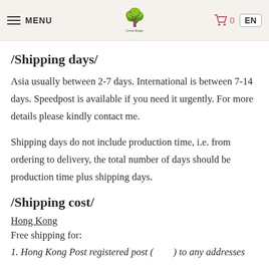MENU | [logo] | 🛒 0 | EN
/Shipping days/
Asia usually between 2-7 days. International is between 7-14 days. Speedpost is available if you need it urgently. For more details please kindly contact me.
Shipping days do not include production time, i.e. from ordering to delivery, the total number of days should be production time plus shipping days.
/Shipping cost/
Hong Kong
Free shipping for:
1. Hong Kong Post registered post (        ) to any addresses